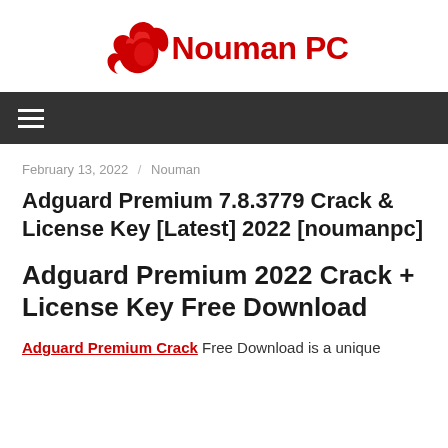[Figure (logo): Nouman PC logo with red flame/bird icon and red bold text 'Nouman PC']
≡
February 13, 2022 / Nouman
Adguard Premium 7.8.3779 Crack & License Key [Latest] 2022 [noumanpc]
Adguard Premium 2022 Crack + License Key Free Download
Adguard Premium Crack Free Download is a unique